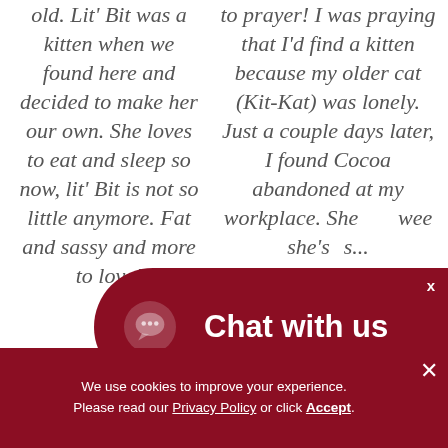old. Lit' Bit was a kitten when we found here and decided to make her our own. She loves to eat and sleep so now, lit' Bit is not so little anymore. Fat and sassy and more to love!
to prayer! I was praying that I'd find a kitten because my older cat (Kit-Kat) was lonely. Just a couple days later, I found Cocoa abandoned at my workplace. She [weeks] she's [already]...
[Figure (other): Chat with us button overlay — dark red rounded pill button with chat bubble icon and white text 'Chat with us', with an X close button]
We use cookies to improve your experience. Please read our Privacy Policy or click Accept. ×